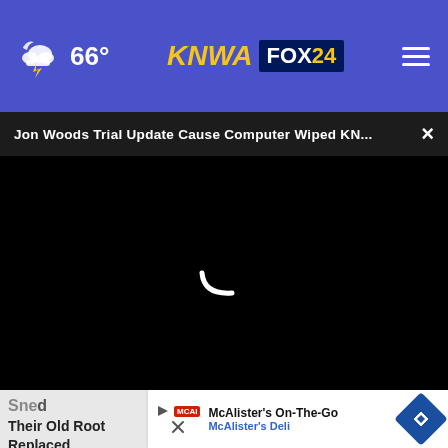66° KNWA FOX 24
Jon Woods Trial Update Cause Computer Wiped KN... ×
[Figure (screenshot): Black video player area with white loading spinner arc visible in center]
[Figure (photo): Partially visible image below video player showing debris/objects on ground with close button overlay]
McAlister's On-The-Go
McAlister's Deli
Sne...
Their Old Root Replaced